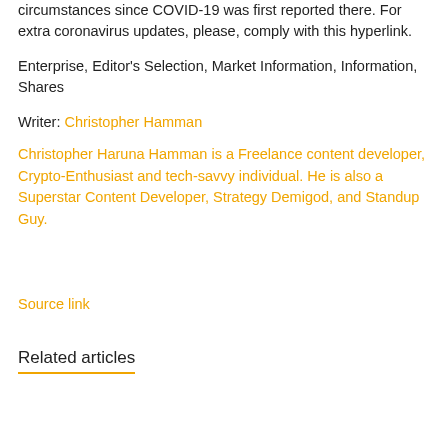circumstances since COVID-19 was first reported there. For extra coronavirus updates, please, comply with this hyperlink.
Enterprise, Editor's Selection, Market Information, Information, Shares
Writer: Christopher Hamman
Christopher Haruna Hamman is a Freelance content developer, Crypto-Enthusiast and tech-savvy individual. He is also a Superstar Content Developer, Strategy Demigod, and Standup Guy.
Source link
Related articles